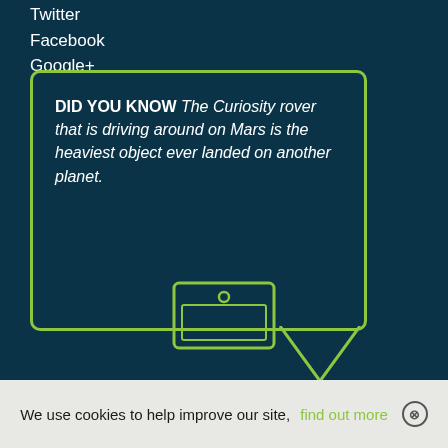Twitter
Facebook
Google+
DID YOU KNOW The Curiosity rover that is driving around on Mars is the heaviest object ever landed on another planet.
[Figure (illustration): Laptop icon outline in green at bottom of dark teal section]
We use cookies to help improve our site, find out more ⊗